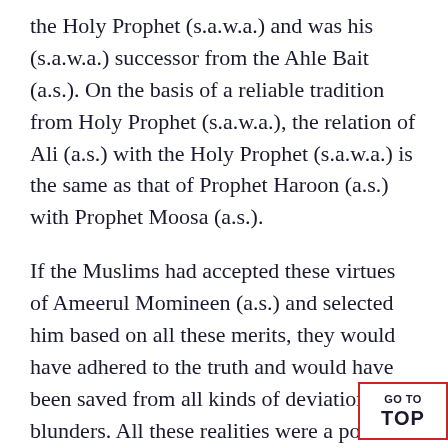the Holy Prophet (s.a.w.a.) and was his (s.a.w.a.) successor from the Ahle Bait (a.s.). On the basis of a reliable tradition from Holy Prophet (s.a.w.a.), the relation of Ali (a.s.) with the Holy Prophet (s.a.w.a.) is the same as that of Prophet Haroon (a.s.) with Prophet Moosa (a.s.).
If the Muslims had accepted these virtues of Ameerul Momineen (a.s.) and selected him based on all these merits, they would have adhered to the truth and would have been saved from all kinds of deviations and blunders. All these realities were a pointer and benchmark to the rightful claim of Ameerul Momineen Ali (a.s.) to the position of Caliphate. Whether it was his proximity to the Holy Prophet (s.a.w.a.), or being in the forefront in battles, or his impeccable and flawless chara...